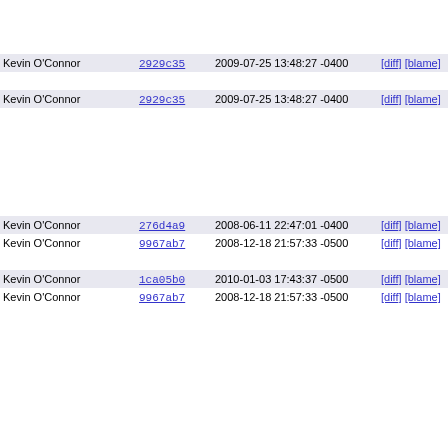| Author | Commit | Date | Links | Line |
| --- | --- | --- | --- | --- |
|  |  |  |  | 668 |
|  |  |  |  | 669 |
|  |  |  |  | 670 |
| Kevin O'Connor | 2929c35 | 2009-07-25 13:48:27 -0400 | [diff] [blame] | 671 |
|  |  |  |  | 672 |
| Kevin O'Connor | 2929c35 | 2009-07-25 13:48:27 -0400 | [diff] [blame] | 673 |
|  |  |  |  | 674 |
|  |  |  |  | 675 |
|  |  |  |  | 676 |
|  |  |  |  | 677 |
|  |  |  |  | 678 |
|  |  |  |  | 679 |
| Kevin O'Connor | 276d4a9 | 2008-06-11 22:47:01 -0400 | [diff] [blame] | 680 |
| Kevin O'Connor | 9967ab7 | 2008-12-18 21:57:33 -0500 | [diff] [blame] | 681 |
|  |  |  |  | 682 |
| Kevin O'Connor | 1ca05b0 | 2010-01-03 17:43:37 -0500 | [diff] [blame] | 683 |
| Kevin O'Connor | 9967ab7 | 2008-12-18 21:57:33 -0500 | [diff] [blame] | 684 |
|  |  |  |  | 685 |
|  |  |  |  | 686 |
|  |  |  |  | 687 |
|  |  |  |  | 688 |
|  |  |  |  | 689 |
|  |  |  |  | 690 |
|  |  |  |  | 691 |
|  |  |  |  | 692 |
|  |  |  |  | 693 |
|  |  |  |  | 694 |
|  |  |  |  | 695 |